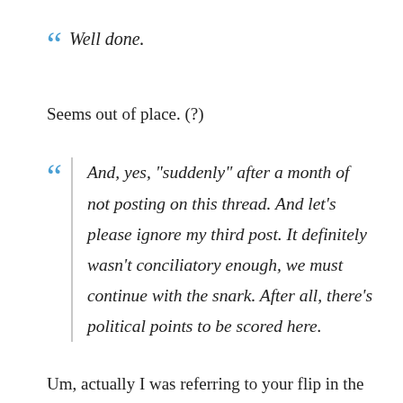“ Well done.
Seems out of place. (?)
“ And, yes, "suddenly" after a month of not posting on this thread. And let's please ignore my third post. It definitely wasn't conciliatory enough, we must continue with the snark. After all, there's political points to be scored here.
Um, actually I was referring to your flip in the space of a 24 hour period early January.